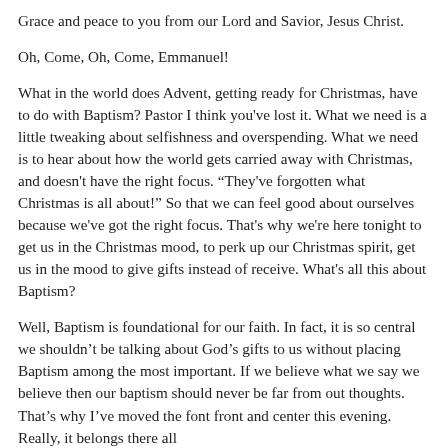Grace and peace to you from our Lord and Savior, Jesus Christ.
Oh, Come, Oh, Come, Emmanuel!
What in the world does Advent, getting ready for Christmas, have to do with Baptism? Pastor I think you've lost it. What we need is a little tweaking about selfishness and overspending. What we need is to hear about how the world gets carried away with Christmas, and doesn't have the right focus. “They've forgotten what Christmas is all about!” So that we can feel good about ourselves because we've got the right focus. That's why we're here tonight to get us in the Christmas mood, to perk up our Christmas spirit, get us in the mood to give gifts instead of receive. What's all this about Baptism?
Well, Baptism is foundational for our faith. In fact, it is so central we shouldn’t be talking about God’s gifts to us without placing Baptism among the most important. If we believe what we say we believe then our baptism should never be far from out thoughts. That’s why I’ve moved the font front and center this evening. Really, it belongs there all